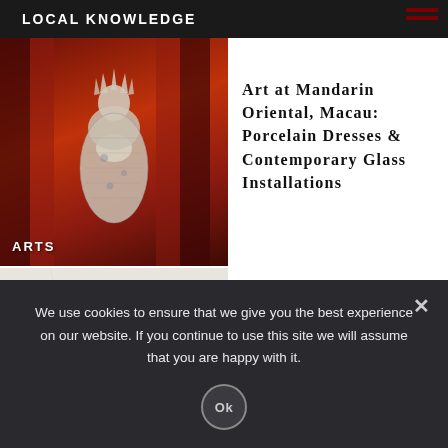LOCAL KNOWLEDGE
[Figure (photo): Porcelain dress sculpture against red background, with ARTS label]
Art at Mandarin Oriental, Macau: Porcelain Dresses & Contemporary Glass Installations
[Figure (photo): Healthy meal bowls with salads and vegetables on marble surface, with DINING label]
Best Places for a Healthy Meal in Macau
We use cookies to ensure that we give you the best experience on our website. If you continue to use this site we will assume that you are happy with it.